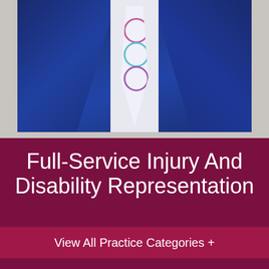[Figure (photo): Photo of a lawyer in a navy blue suit with a colorful patterned tie, cropped at mid-torso, shown from the waist up against a light background]
Full-Service Injury And Disability Representation
View All Practice Categories +